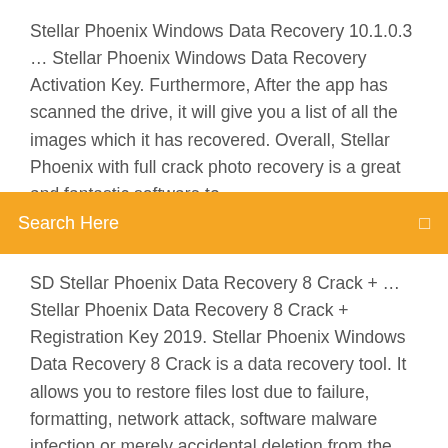Stellar Phoenix Windows Data Recovery 10.1.0.3 … Stellar Phoenix Windows Data Recovery Activation Key. Furthermore, After the app has scanned the drive, it will give you a list of all the images which it has recovered. Overall, Stellar Phoenix with full crack photo recovery is a great and fantastic software to
Search Here
SD Stellar Phoenix Data Recovery 8 Crack + … Stellar Phoenix Data Recovery 8 Crack + Registration Key 2019. Stellar Phoenix Windows Data Recovery 8 Crack is a data recovery tool. It allows you to restore files lost due to failure, formatting, network attack, software malware infection or merely accidental deletion from the Recycle Bin. VERSION COMPLETE DE STELLAR PHOENIX DATA REC. [Résolu … Windows; VERSION COMPLETE DE STELLAR PHOENIX DATA REC. [Résolu/Fermé] Signaler. etn - 21 janv. 2008 à 20:15 irongege Messages postés 42002 Date d'inscription jeudi 1 novembre 2007 Statut Stellar